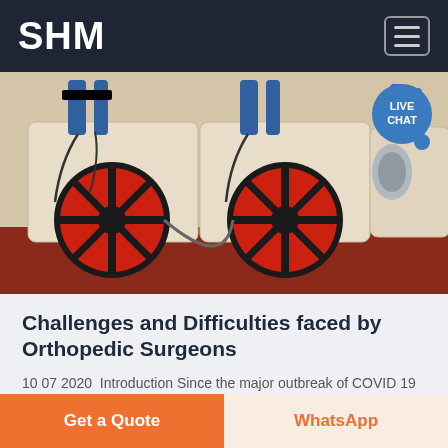SHM
[Figure (photo): Industrial machinery with red wheel fans and blue hydraulic cylinders, cream-colored housing units on red frames in a factory setting. A 'LIVE CHAT' badge appears in the upper right corner.]
Challenges and Difficulties faced by Orthopedic Surgeons
10 07 2020  Introduction Since the major outbreak of COVID 19 in March 2020 all
Get a Quote
WhatsApp